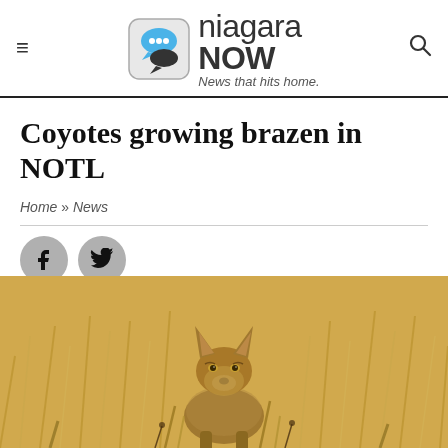niagara NOW — News that hits home.
Coyotes growing brazen in NOTL
Home » News
[Figure (illustration): Social media share buttons: Facebook and Twitter icons in grey circles]
[Figure (photo): A coyote standing in a golden wheat or dry grass field, looking directly at the camera]